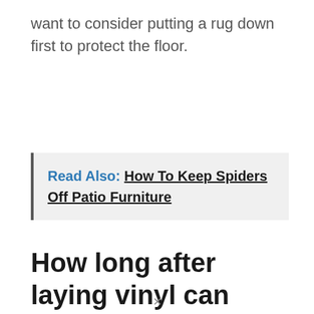want to consider putting a rug down first to protect the floor.
Read Also: How To Keep Spiders Off Patio Furniture
How long after laying vinyl can